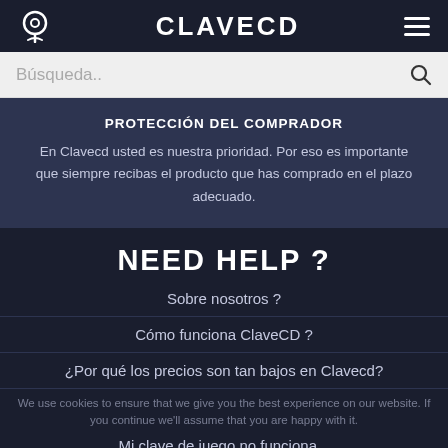CLAVECD
Búsqueda..
PROTECCIÓN DEL COMPRADOR
En Clavecd usted es nuestra prioridad. Por eso es importante que siempre recibas el producto que has comprado en el plazo adecuado.
NEED HELP ?
Sobre nosotros ?
Cómo funciona ClaveCD ?
¿Por qué los precios son tan bajos en Clavecd?
Mi clave de juego no funciona...
Cómo activar mi clave de juego...
We use cookies to ensure that we give you the best experience on our website. If you continue we'll assume that you are happy with it.
Ok  Read more  Ayuda